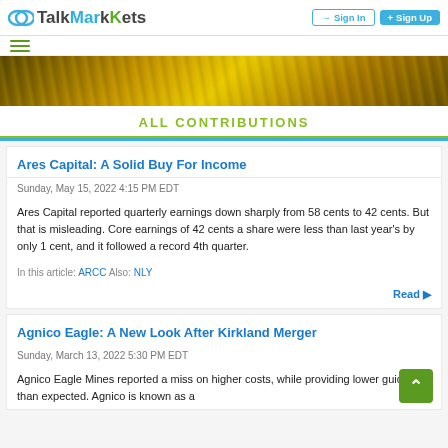TalkMarkets — Sign In | Sign Up
[Figure (screenshot): TalkMarkets website header with logo, Sign In and Sign Up buttons]
[Figure (photo): Gold/grain banner image with warm tones]
ALL CONTRIBUTIONS
Ares Capital: A Solid Buy For Income
Sunday, May 15, 2022 4:15 PM EDT
Ares Capital reported quarterly earnings down sharply from 58 cents to 42 cents. But that is misleading. Core earnings of 42 cents a share were less than last year's by only 1 cent, and it followed a record 4th quarter.
In this article: ARCC Also: NLY
Read ▶
Agnico Eagle: A New Look After Kirkland Merger
Sunday, March 13, 2022 5:30 PM EDT
Agnico Eagle Mines reported a miss on higher costs, while providing lower guidance than expected. Agnico is known as a